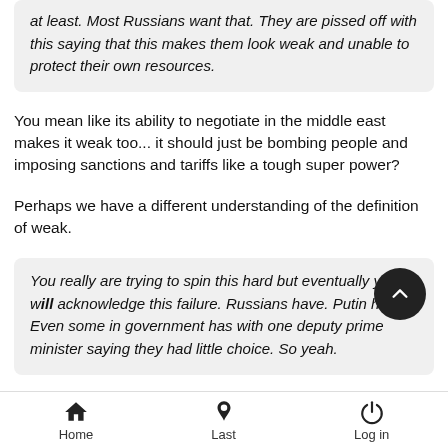at least. Most Russians want that. They are pissed off with this saying that this makes them look weak and unable to protect their own resources.
You mean like its ability to negotiate in the middle east makes it weak too... it should just be bombing people and imposing sanctions and tariffs like a tough super power?
Perhaps we have a different understanding of the definition of weak.
You really are trying to spin this hard but eventually you will acknowledge this failure. Russians have. Putin has. Even some in government has with one deputy prime minister saying they had little choice. So yeah.
Home  Last  Log in